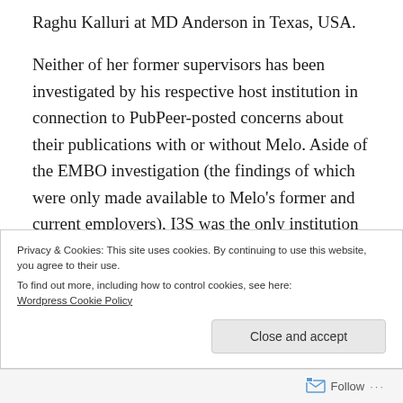Raghu Kalluri at MD Anderson in Texas, USA.
Neither of her former supervisors has been investigated by his respective host institution in connection to PubPeer-posted concerns about their publications with or without Melo. Aside of the EMBO investigation (the findings of which were only made available to Melo’s former and current employers), I3S was the only institution to initiate their own investigation. Unfortunately, its report is not available to the public either. All we now receive is a press release, in which I3S admits to the
Privacy & Cookies: This site uses cookies. By continuing to use this website, you agree to their use.
To find out more, including how to control cookies, see here:
Wordpress Cookie Policy
Follow